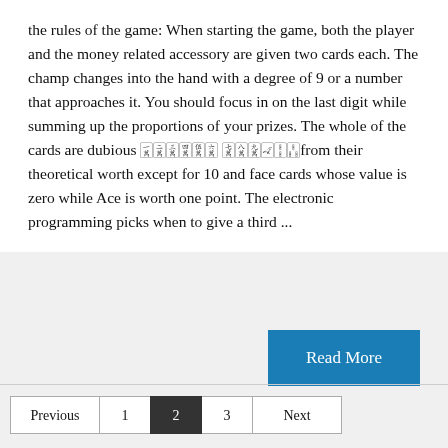the rules of the game: When starting the game, both the player and the money related accessory are given two cards each. The champ changes into the hand with a degree of 9 or a number that approaches it. You should focus in on the last digit while summing up the proportions of your prizes. The whole of the cards are dubious 🀇🀈🀉🀊🀋🀌 🀍🀎🀏🀐🀑🀒from their theoretical worth except for 10 and face cards whose value is zero while Ace is worth one point. The electronic programming picks when to give a third ...
Read More
Previous  1  2  3  Next